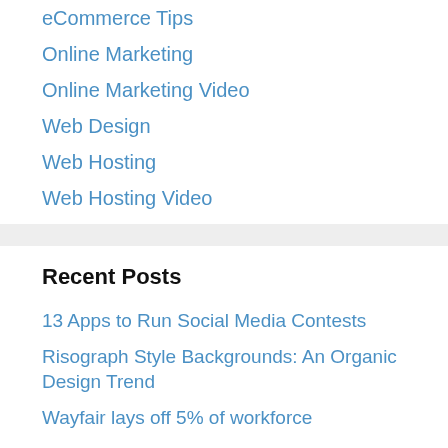eCommerce Tips
Online Marketing
Online Marketing Video
Web Design
Web Hosting
Web Hosting Video
Recent Posts
13 Apps to Run Social Media Contests
Risograph Style Backgrounds: An Organic Design Trend
Wayfair lays off 5% of workforce